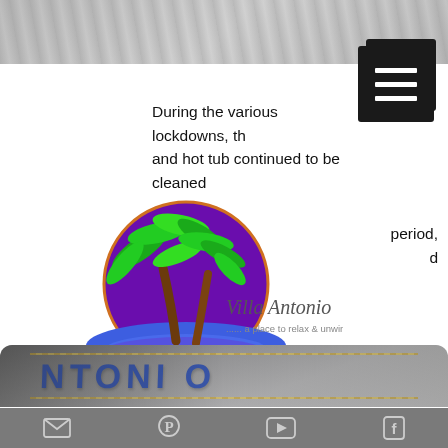[Figure (photo): Blurred header photo at top of page]
[Figure (other): Hamburger/menu button (three horizontal lines on dark background)]
During the various lockdowns, th[e pool] and hot tub continued to be cleaned
[...] period, [...]d
[Figure (logo): Villa Antonio logo — palm trees on purple circle with blue/purple water reflection, text 'Villa Antonio' and '...... a place to relax & unwind']
[...ve] added [...] ure
[Figure (infographic): Banner text: WE NOW ACCEPT CREDIT CARDS]
[...h]ave [...:t]ure below
[Figure (photo): Close-up photo of credit/loyalty cards showing partial text 'NTONIO' in blue letters with gold decorative border]
[Figure (other): Bottom navigation bar with email, Pinterest, YouTube, and Facebook icons]